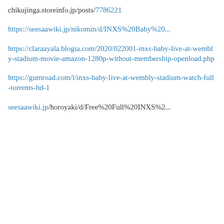chikujinga.storeinfo.jp/posts/7786221
https://seesaawiki.jp/nikomin/d/INXS%20Baby%20...
https://claraayala.blogia.com/2020/022001-inxs-baby-live-at-wembly-stadium-movie-amazon-1280p-without-membership-openload.php
https://gumroad.com/l/inxs-baby-live-at-wembly-stadium-watch-full-torrents-hd-1
seesaawiki.jp/horoyaki/d/Free%20Full%20INXS%2...